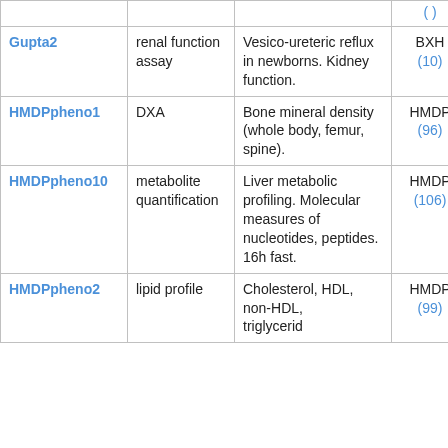| Name | Assay type | Description | Panel (ref) | Sex | N strains |
| --- | --- | --- | --- | --- | --- |
| Gupta2 | renal function assay | Vesico-ureteric reflux in newborns. Kidney function. | BXH (10) | both | po |
| HMDPpheno1 | DXA | Bone mineral density (whole body, femur, spine). | HMDP (96) | m | 16 |
| HMDPpheno10 | metabolite quantification | Liver metabolic profiling. Molecular measures of nucleotides, peptides. 16h fast. | HMDP (106) | m | 16 |
| HMDPpheno2 | lipid profile | Cholesterol, HDL, non-HDL, triglycerides... | HMDP (99) | m | 16 |